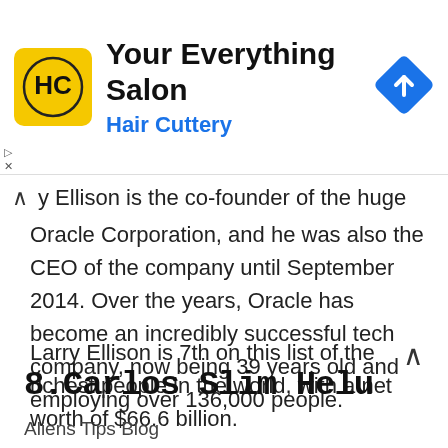[Figure (logo): Hair Cuttery advertisement banner with HC logo, text 'Your Everything Salon' and 'Hair Cuttery', and a navigation arrow diamond icon]
y Ellison is the co-founder of the huge Oracle Corporation, and he was also the CEO of the company until September 2014. Over the years, Oracle has become an incredibly successful tech company, now being 39 years old and employing over 136,000 people.
Larry Ellison is 7th on this list of the richest people in the world, with a net worth of $66.6 billion.
8.Carlos Slim Helu
Aliens Tips Blog